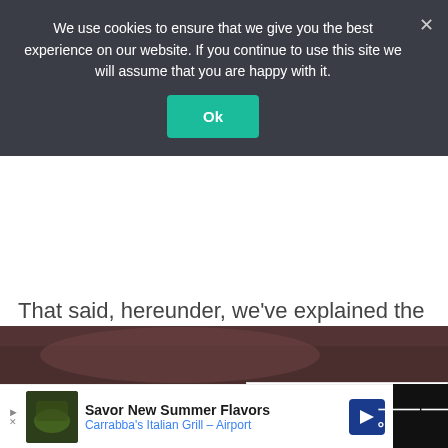We use cookies to ensure that we give you the best experience on our website. If you continue to use this site we will assume that you are happy with it.
That said, hereunder, we've explained the various possible signs that depict a blown gasket head and what actually causes the gasket to fail.
Symptoms of Blown Head G...
[Figure (photo): Thumbnail image for What's Next panel – car thermostat]
WHAT'S NEXT → Top 5 Bad Thermostat...
[Figure (photo): Dark reddish photo strip at bottom of page]
Savor New Summer Flavors
Carrabba's Italian Grill – Airport